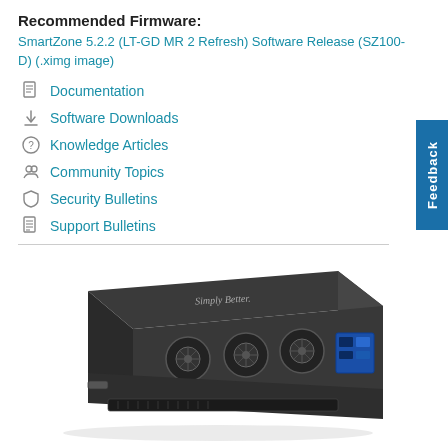Recommended Firmware:
SmartZone 5.2.2 (LT-GD MR 2 Refresh) Software Release (SZ100-D) (.ximg image)
Documentation
Software Downloads
Knowledge Articles
Community Topics
Security Bulletins
Support Bulletins
[Figure (photo): Ruckus rack-mounted network appliance device with 'Simply Better.' branding on the top, showing three cooling fans and rear ports, viewed from a 3/4 angle.]